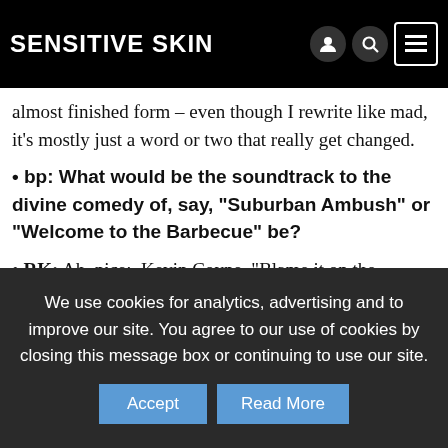Sensitive Skin
almost finished form – even though I rewrite like mad, it's mostly just a word or two that really get changed.
bp: What would be the soundtrack to the divine comedy of, say, “Suburban Ambush” or “Welcome to the Barbecue” be?
RK: Ah, nice:  Kevin Coyne, “Blame it on the Night”; almost any song from John Cale’s Wrong Way Up; Tom Verlaine’s “Walking Back From Stalingrad”; Gene Pitney’s “24 Hours From Tulsa”; Jimi Hendrix’s “Star Spangled Banner” from
We use cookies for analytics, advertising and to improve our site. You agree to our use of cookies by closing this message box or continuing to use our site.